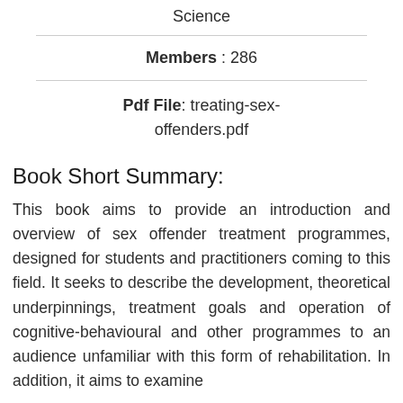Science
Members : 286
Pdf File: treating-sex-offenders.pdf
Book Short Summary:
This book aims to provide an introduction and overview of sex offender treatment programmes, designed for students and practitioners coming to this field. It seeks to describe the development, theoretical underpinnings, treatment goals and operation of cognitive-behavioural and other programmes to an audience unfamiliar with this form of rehabilitation. In addition, it aims to examine